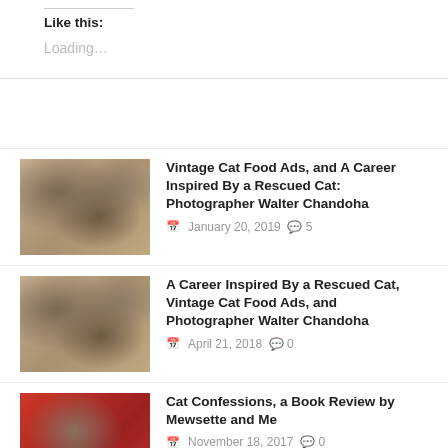Like this:
Loading...
[Figure (photo): Vintage illustration of tabby cats with a jug]
Vintage Cat Food Ads, and A Career Inspired By a Rescued Cat: Photographer Walter Chandoha
January 20, 2019  5
[Figure (photo): Vintage illustration of tabby cats with a jug (second instance)]
A Career Inspired By a Rescued Cat, Vintage Cat Food Ads, and Photographer Walter Chandoha
April 21, 2018  0
[Figure (photo): Photo of a striped cat peeking out of a red bag]
Cat Confessions, a Book Review by Mewsette and Me
November 18, 2017  0